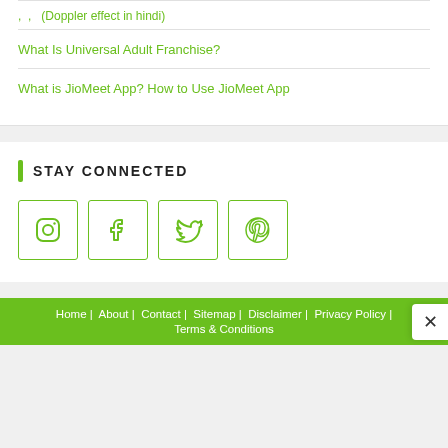, , (Doppler effect in hindi)
What Is Universal Adult Franchise?
What is JioMeet App? How to Use JioMeet App
STAY CONNECTED
[Figure (infographic): Four social media icon boxes: Instagram, Facebook, Twitter, Pinterest]
Home | About | Contact | Sitemap | Disclaimer | Privacy Policy | Terms & Conditions